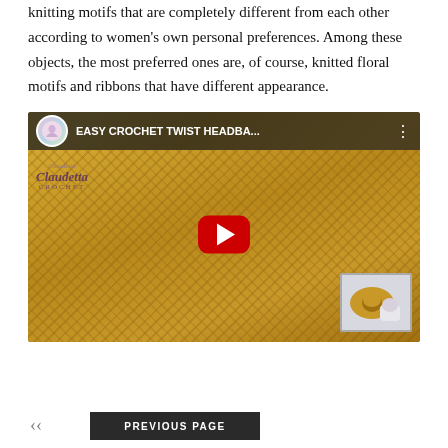knitting motifs that are completely different from each other according to women's own personal preferences. Among these objects, the most preferred ones are, of course, knitted floral motifs and ribbons that have different appearance.
[Figure (screenshot): YouTube video thumbnail for 'EASY CROCHET TWIST HEADBA...' by Claudetta Crochet channel, showing a golden/mustard yellow crocheted twist headband with a play button overlay. A smaller inset thumbnail shows the headband on a mannequin head.]
PREVIOUS PAGE